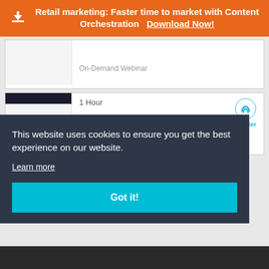Retail marketing: Faster time to market with Content Orchestration   Download Now!
On-Demand Webinar
1 Hour
Learn From The Leaders: Elevating A Brand
This website uses cookies to ensure you get the best experience on our website.
Learn more
Got it!